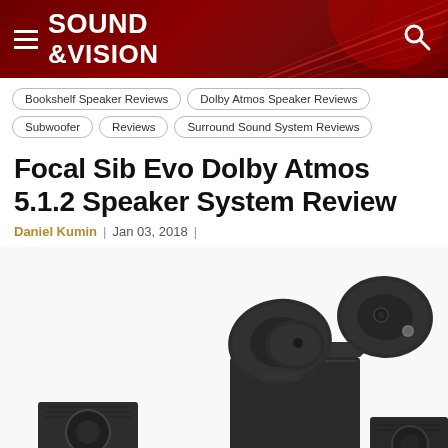SOUND & VISION
Bookshelf Speaker Reviews
Dolby Atmos Speaker Reviews
Subwoofer Reviews
Surround Sound System Reviews
Focal Sib Evo Dolby Atmos 5.1.2 Speaker System Review
Daniel Kumin | Jan 03, 2018 |
[Figure (photo): Focal Sib Evo Dolby Atmos 5.1.2 speaker system product photo showing multiple satellite speakers and a subwoofer arranged together on a white background]